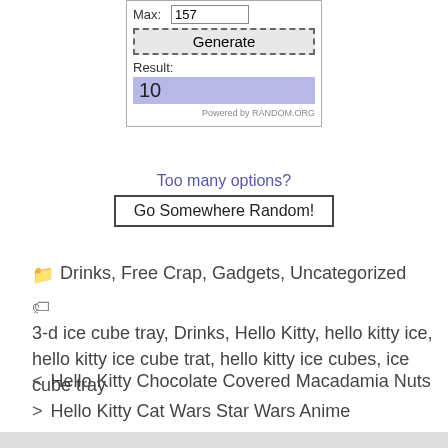[Figure (screenshot): Random.org number generator widget showing Max: 157, a Generate button, Result label, and result value 10 highlighted in blue-purple, with 'Powered by RANDOM.ORG' footer]
Too many options?
Go Somewhere Random!
Drinks, Free Crap, Gadgets, Uncategorized
3-d ice cube tray, Drinks, Hello Kitty, hello kitty ice, hello kitty ice cube trat, hello kitty ice cubes, ice cube tray
< Hello Kitty Chocolate Covered Macadamia Nuts
> Hello Kitty Cat Wars Star Wars Anime